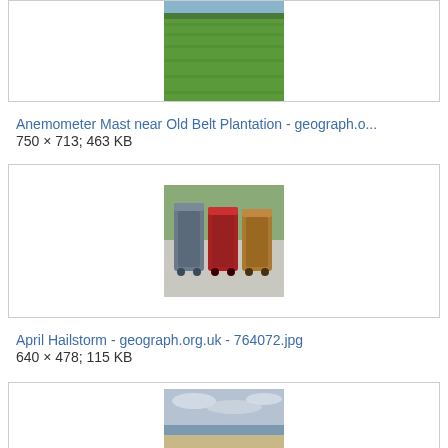[Figure (photo): Aerial/ground photo of a green grass field, partially cropped at top]
Anemometer Mast near Old Belt Plantation - geograph.o...
750 × 713; 463 KB
[Figure (photo): Three wheelie bins side by side - grey, red, and brown/tan colored bins on a gravel surface]
April Hailstorm - geograph.org.uk - 764072.jpg
640 × 478; 115 KB
[Figure (photo): Coastal/beach scene with grey cloudy sky, partially visible at bottom of page]